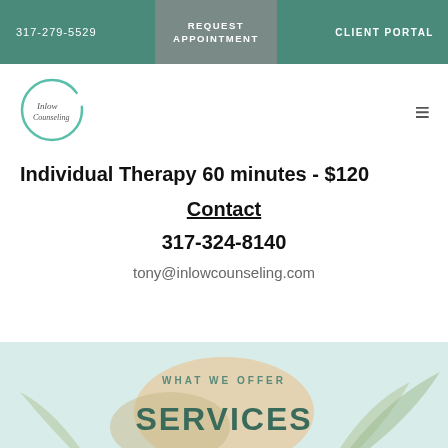317-279-5529   REQUEST APPOINTMENT   CLIENT PORTAL
[Figure (logo): Inlow Counseling circular logo with teal brush stroke circle outline]
Individual Therapy 60 minutes - $120
Contact
317-324-8140
tony@inlowcounseling.com
[Figure (illustration): Decorative tropical plant illustration background with text WHAT WE OFFER and SERVICES]